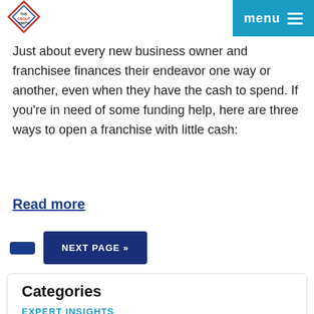The Groutsmith | menu
Just about every new business owner and franchisee finances their endeavor one way or another, even when they have the cash to spend. If you're in need of some funding help, here are three ways to open a franchise with little cash:
Read more
NEXT PAGE »
Categories
EXPERT INSIGHTS